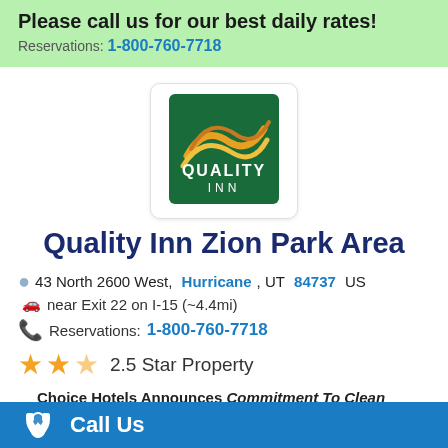Please call us for our best daily rates!
Reservations: 1-800-760-7718
[Figure (logo): Quality Inn logo: green square background with golden swoosh/wave design and white text reading QUALITY INN]
Quality Inn Zion Park Area
43 North 2600 West, Hurricane, UT 84737 US
near Exit 22 on I-15 (~4.4mi)
Reservations: 1-800-760-7718
2.5 Star Property
Choice Hotels Announces Commitment To Clean Initiative:
Call Us